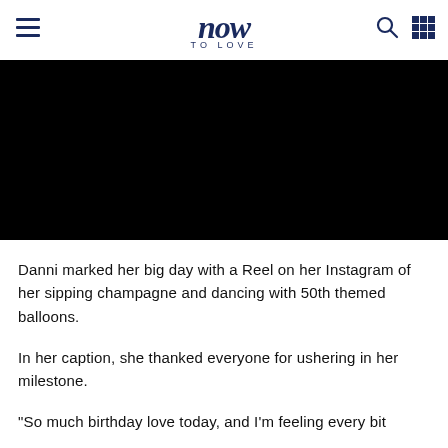now TO LOVE
[Figure (photo): Black image area, likely a video or photo of Danni]
Danni marked her big day with a Reel on her Instagram of her sipping champagne and dancing with 50th themed balloons.
In her caption, she thanked everyone for ushering in her milestone.
"So much birthday love today, and I'm feeling every bit